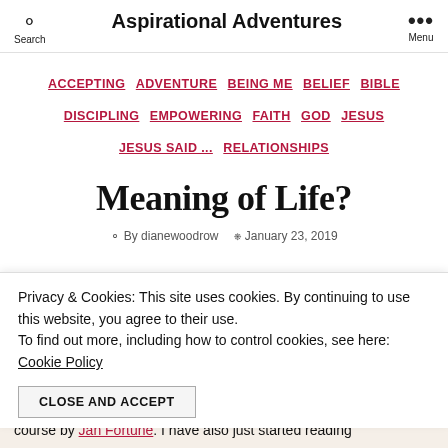Search | Aspirational Adventures | Menu
ACCEPTING  ADVENTURE  BEING ME  BELIEF  BIBLE  DISCIPLING  EMPOWERING  FAITH  GOD  JESUS  JESUS SAID ...  RELATIONSHIPS
Meaning of Life?
By dianewoodrow  January 23, 2019
Privacy & Cookies: This site uses cookies. By continuing to use this website, you agree to their use. To find out more, including how to control cookies, see here: Cookie Policy
CLOSE AND ACCEPT
course by Jan Fortune. I have also just started reading